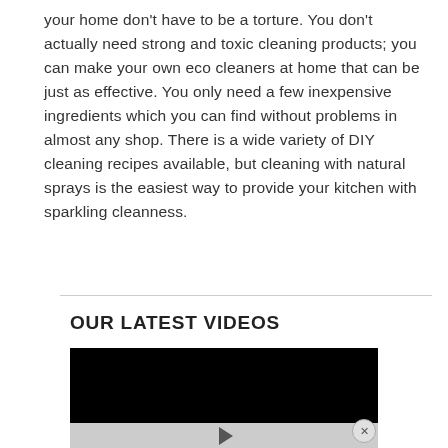your home don't have to be a torture. You don't actually need strong and toxic cleaning products; you can make your own eco cleaners at home that can be just as effective. You only need a few inexpensive ingredients which you can find without problems in almost any shop. There is a wide variety of DIY cleaning recipes available, but cleaning with natural sprays is the easiest way to provide your kitchen with sparkling cleanness.
OUR LATEST VIDEOS
[Figure (other): Video player with black screen area and light gray controls bar with a play button triangle in the center. A close (X) button appears at the bottom right.]